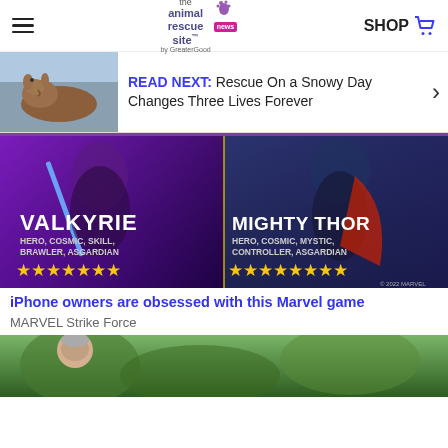the animal rescue site news | SHOP
READ NEXT: Rescue On a Snowy Day Changes Three Lives Forever
[Figure (photo): MARVEL Strike Force game advertisement showing Valkyrie (Hero, Cosmic, Skill, Brawler, Asgardian) and Mighty Thor (Hero, Cosmic, Mystic, Controller, Asgardian) characters with star ratings]
iPhone owners are obsessed with this Marvel game
MARVEL Strike Force
[Figure (photo): Partial image showing a man with gray hair against a green aerial landscape background]